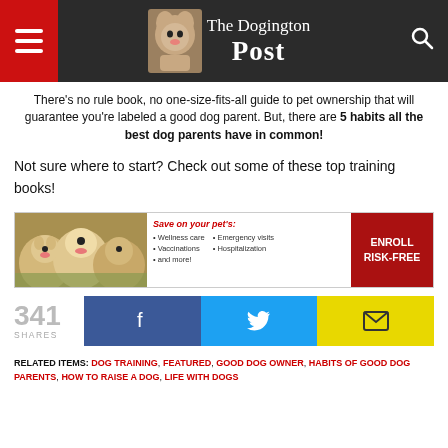The Dogington Post
There’s no rule book, no one-size-fits-all guide to pet ownership that will guarantee you’re labeled a good dog parent. But, there are 5 habits all the best dog parents have in common!
Not sure where to start? Check out some of these top training books!
[Figure (infographic): Pet insurance advertisement banner with puppies photo, 'Save on your pet’s: Wellness care, Vaccinations, and more! Emergency visits, Hospitalization' and red ENROLL RISK-FREE button]
341 SHARES
[Figure (infographic): Social share buttons: Facebook (blue), Twitter (cyan), Email (yellow)]
RELATED ITEMS: DOG TRAINING, FEATURED, GOOD DOG OWNER, HABITS OF GOOD DOG PARENTS, HOW TO RAISE A DOG, LIFE WITH DOGS